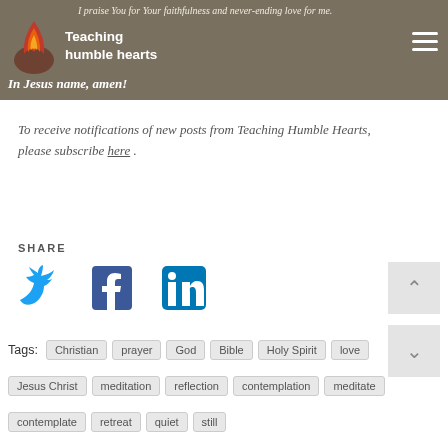Teaching Humble Hearts — I praise You for Your faithfulness and never-ending love for me. In Jesus name, amen!
To receive notifications of new posts from Teaching Humble Hearts, please subscribe here .
SHARE
[Figure (infographic): Social media share icons: Twitter (bird), Facebook (f), LinkedIn (in)]
Tags: Christian prayer God Bible Holy Spirit love Jesus Christ meditation reflection contemplation meditate contemplate retreat quiet still